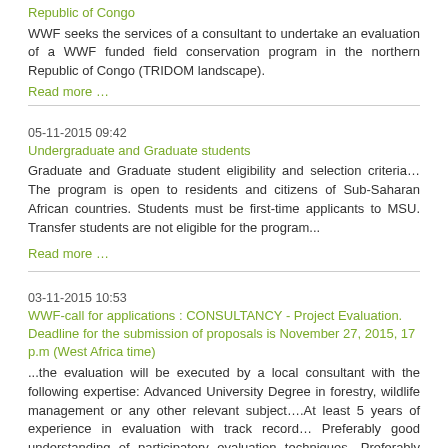Republic of Congo
WWF seeks the services of a consultant to undertake an evaluation of a WWF funded field conservation program in the northern Republic of Congo (TRIDOM landscape).
Read more …
05-11-2015 09:42
Undergraduate and Graduate students
Graduate and Graduate student eligibility and selection criteria…The program is open to residents and citizens of Sub-Saharan African countries. Students must be first-time applicants to MSU. Transfer students are not eligible for the program...
Read more …
03-11-2015 10:53
WWF-call for applications : CONSULTANCY - Project Evaluation. Deadline for the submission of proposals is November 27, 2015, 17 p.m (West Africa time)
...the evaluation will be executed by a local consultant with the following expertise: Advanced University Degree in forestry, wildlife management or any other relevant subject….At least 5 years of experience in evaluation with track record… Preferably good understanding of participatory evaluation techniques…Preferably professional experience in Cameroon or another Central African Country…
Read more …
27-10-2015 06:15
Job Offer: The EU is seeking to recruit an Information Technology / Communications Assistant & an Administrative and Financial Assistant.